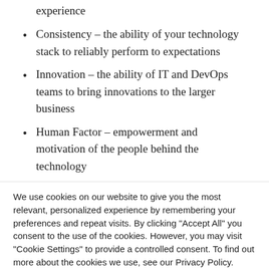experience
Consistency – the ability of your technology stack to reliably perform to expectations
Innovation – the ability of IT and DevOps teams to bring innovations to the larger business
Human Factor – empowerment and motivation of the people behind the technology
Together, answering questions across these categories
We use cookies on our website to give you the most relevant, personalized experience by remembering your preferences and repeat visits. By clicking "Accept All" you consent to the use of the cookies. However, you may visit "Cookie Settings" to provide a controlled consent. To find out more about the cookies we use, see our Privacy Policy.